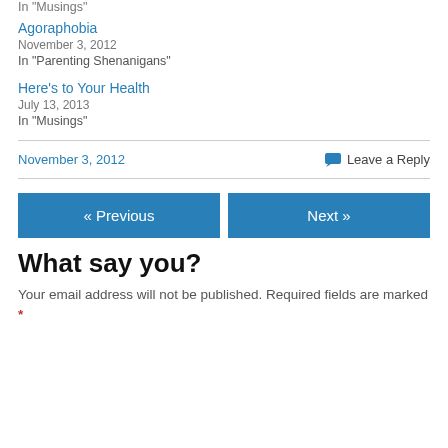In "Musings"
Agoraphobia
November 3, 2012
In "Parenting Shenanigans"
Here's to Your Health
July 13, 2013
In "Musings"
November 3, 2012   Leave a Reply
« Previous
Next »
What say you?
Your email address will not be published. Required fields are marked *